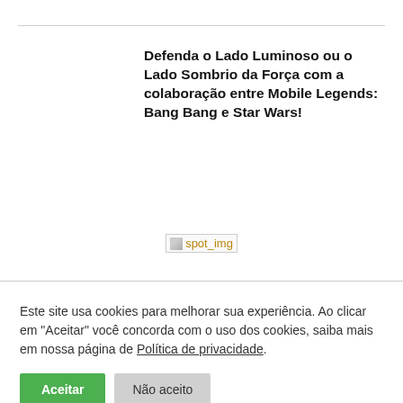Defenda o Lado Luminoso ou o Lado Sombrio da Força com a colaboração entre Mobile Legends: Bang Bang e Star Wars!
[Figure (other): Broken image placeholder labeled 'spot_img']
Este site usa cookies para melhorar sua experiência. Ao clicar em "Aceitar" você concorda com o uso dos cookies, saiba mais em nossa página de Política de privacidade.